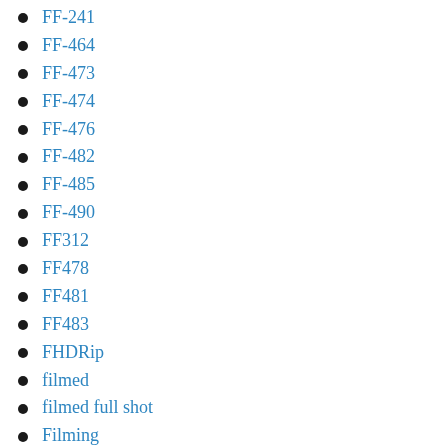FF-241
FF-464
FF-473
FF-474
FF-476
FF-482
FF-485
FF-490
FF312
FF478
FF481
FF483
FHDRip
filmed
filmed full shot
Filming